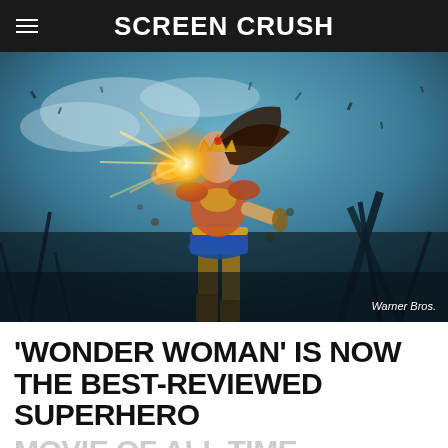Screen Crush
[Figure (photo): Wonder Woman movie promotional still showing a woman in gold and blue superhero costume running and deflecting light with her bracelet, set against a dark battle scene background. 'Warner Bros.' watermark in bottom right.]
'WONDER WOMAN' IS NOW THE BEST-REVIEWED SUPERHERO MOVIE OF ALL TIME